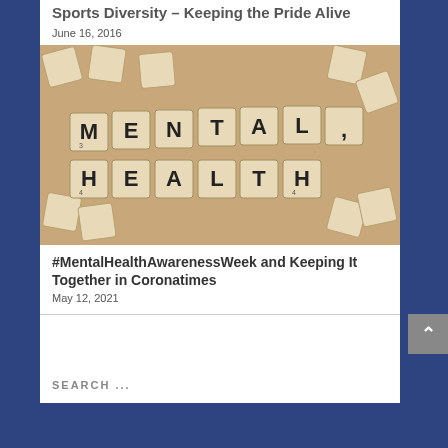Sports Diversity – Keeping the Pride Alive
June 16, 2016
[Figure (photo): Scrabble tiles arranged to spell out MENTAL HEALTH on a wooden background]
#MentalHealthAwarenessWeek and Keeping It Together in Coronatimes
May 12, 2021
SEARCH ...